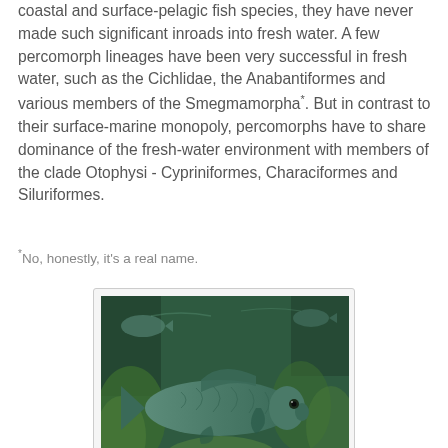coastal and surface-pelagic fish species, they have never made such significant inroads into fresh water. A few percomorph lineages have been very successful in fresh water, such as the Cichlidae, the Anabantiformes and various members of the Smegmamorpha*. But in contrast to their surface-marine monopoly, percomorphs have to share dominance of the fresh-water environment with members of the clade Otophysi - Cypriniformes, Characiformes and Siluriformes.
*No, honestly, it's a real name.
[Figure (photo): Underwater photograph of a freshwater fish (likely a cyprinid/carp species) swimming near the bottom of a river or lake, with green aquatic vegetation and sandy substrate visible in the background.]